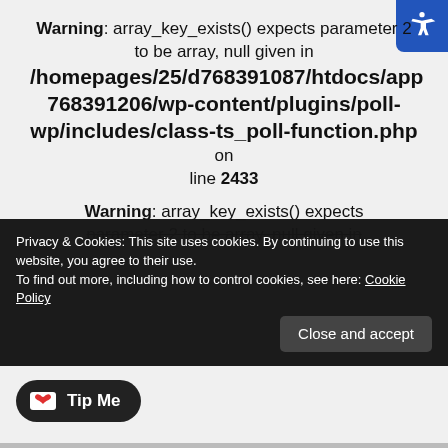Warning: array_key_exists() expects parameter 2 to be array, null given in /homepages/25/d768391087/htdocs/app768391206/wp-content/plugins/poll-wp/includes/class-ts_poll-function.php on line 2433
Warning: array_key_exists() expects parameter 2 to be array, null given in
Privacy & Cookies: This site uses cookies. By continuing to use this website, you agree to their use.
To find out more, including how to control cookies, see here: Cookie Policy
Close and accept
Tip Me